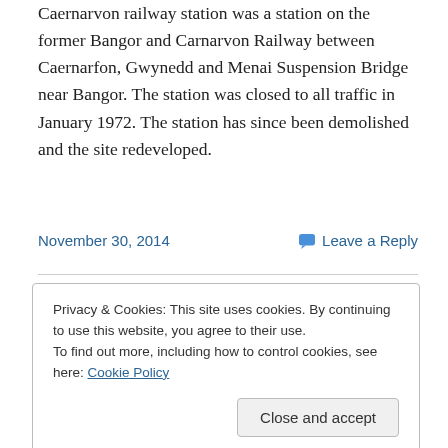Caernarvon railway station was a station on the former Bangor and Carnarvon Railway between Caernarfon, Gwynedd and Menai Suspension Bridge near Bangor. The station was closed to all traffic in January 1972. The station has since been demolished and the site redeveloped.
November 30, 2014
Leave a Reply
Privacy & Cookies: This site uses cookies. By continuing to use this website, you agree to their use.
To find out more, including how to control cookies, see here: Cookie Policy
Close and accept